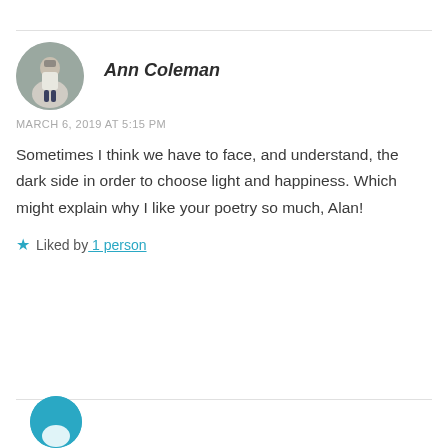Ann Coleman
MARCH 6, 2019 AT 5:15 PM
Sometimes I think we have to face, and understand, the dark side in order to choose light and happiness. Which might explain why I like your poetry so much, Alan!
Liked by 1 person
[Figure (photo): Circular avatar photo of Ann Coleman, a person wearing sunglasses and a light shirt, standing outdoors]